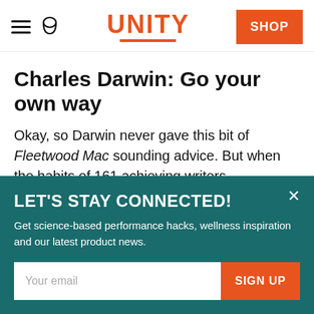UNITY
Charles Darwin: Go your own way
Okay, so Darwin never gave this bit of Fleetwood Mac sounding advice. But when the habits of 161 achieving writers, composers,
LET'S STAY CONNECTED!
Get science-based performance hacks, wellness inspiration and our latest product news.
Your email